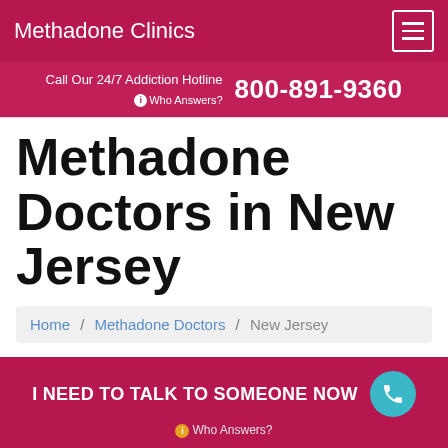Methadone Clinics
Call Our 24/7 Addiction Hotline ℹ Who Answers? 800-891-9360
Methadone Doctors in New Jersey
Home / Methadone Doctors / New Jersey
Call 800-891-9360 to speak with a Methadone counselor.
ℹ Who Answers?
I NEED TO TALK TO SOMEONE NOW ℹ Who Answers?